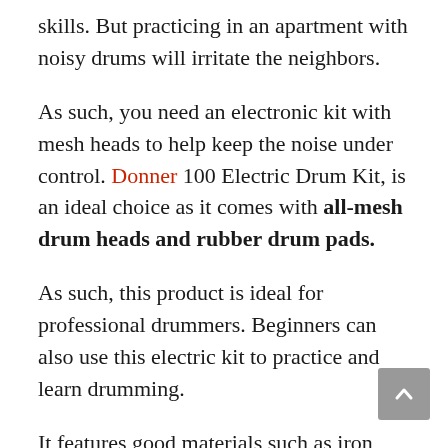skills. But practicing in an apartment with noisy drums will irritate the neighbors.
As such, you need an electronic kit with mesh heads to help keep the noise under control. Donner 100 Electric Drum Kit, is an ideal choice as it comes with all-mesh drum heads and rubber drum pads.
As such, this product is ideal for professional drummers. Beginners can also use this electric kit to practice and learn drumming.
It features good materials such as iron metal support to make it durable. Besides, it is affordable, and this makes it an ideal option for